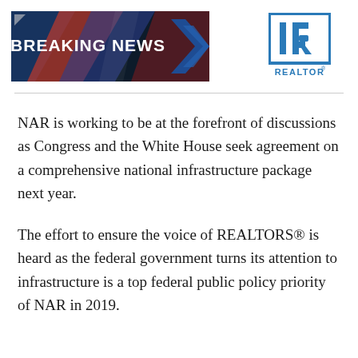[Figure (logo): Breaking News banner image with bold white text on dark blue/red background with diagonal chevron shapes]
[Figure (logo): REALTOR(R) logo — blue square with IR letters and REALTOR text below]
NAR is working to be at the forefront of discussions as Congress and the White House seek agreement on a comprehensive national infrastructure package next year.
The effort to ensure the voice of REALTORS® is heard as the federal government turns its attention to infrastructure is a top federal public policy priority of NAR in 2019.